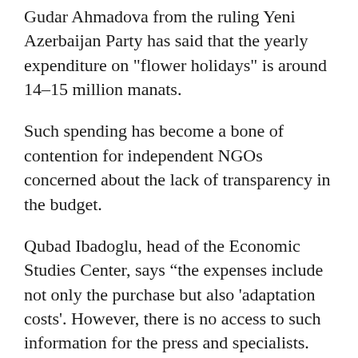Gudar Ahmadova from the ruling Yeni Azerbaijan Party has said that the yearly expenditure on "flower holidays" is around 14–15 million manats.
Such spending has become a bone of contention for independent NGOs concerned about the lack of transparency in the budget.
Qubad Ibadoglu, head of the Economic Studies Center, says “the expenses include not only the purchase but also 'adaptation costs'. However, there is no access to such information for the press and specialists. We have applied for information, but couldn't get anything.”
Natik Jafarov, the head of the Economic Bloggers Association, calculated that for the money spent on "flower holidays" in 2009, the authorities could